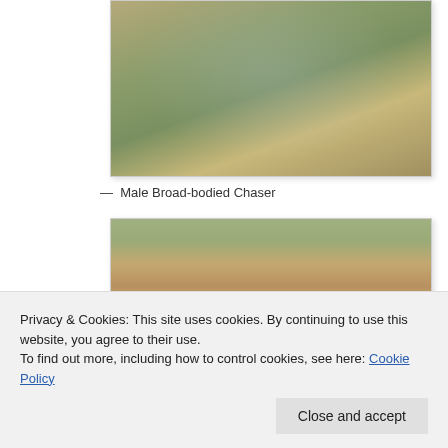[Figure (photo): Photograph of a Male Broad-bodied Chaser dragonfly perched on a plant stem, wings spread, light blue abdomen visible, against a green and sandy background.]
— Male Broad-bodied Chaser
[Figure (photo): Photograph showing sandy ground with small stones and green plants, partial view of a second dragonfly subject.]
Privacy & Cookies: This site uses cookies. By continuing to use this website, you agree to their use.
To find out more, including how to control cookies, see here: Cookie Policy
Close and accept